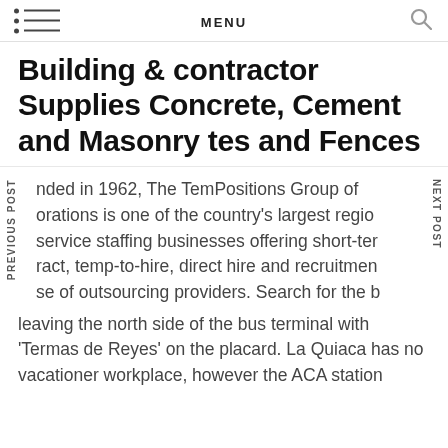MENU
Building & contractor Supplies Concrete, Cement and Masonry tes and Fences
nded in 1962, The TemPositions Group of orations is one of the country's largest regio service staffing businesses offering short-ter ract, temp-to-hire, direct hire and recruitmen se of outsourcing providers. Search for the b leaving the north side of the bus terminal with 'Termas de Reyes' on the placard. La Quiaca has no vacationer workplace, however the ACA station RN 9 has maps.